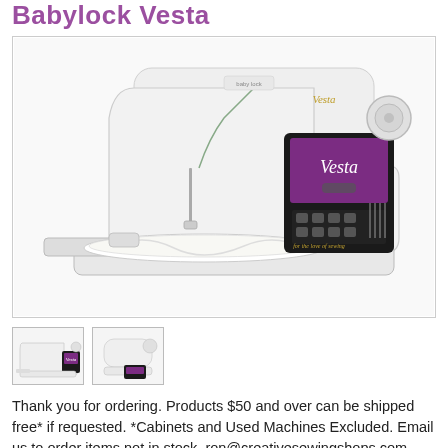Babylock Vesta
[Figure (photo): Photo of the Babylock Vesta embroidery/sewing machine — white body with a purple touchscreen display showing 'Vesta' branding, control buttons, and fabric loaded in the embroidery hoop area.]
[Figure (photo): Thumbnail image 1: small version of the Babylock Vesta machine from the front-left angle.]
[Figure (photo): Thumbnail image 2: small version of the Babylock Vesta machine showing the side/right profile.]
Thank you for ordering. Products $50 and over can be shipped free* if requested. *Cabinets and Used Machines Excluded. Email us to order items not in stock. ron@creativesewingshops.com